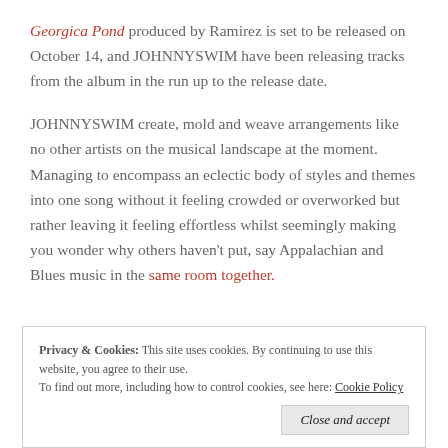Georgica Pond produced by Ramirez is set to be released on October 14, and JOHNNYSWIM have been releasing tracks from the album in the run up to the release date.
JOHNNYSWIM create, mold and weave arrangements like no other artists on the musical landscape at the moment. Managing to encompass an eclectic body of styles and themes into one song without it feeling crowded or overworked but rather leaving it feeling effortless whilst seemingly making you wonder why others haven't put, say Appalachian and Blues music in the same room together.
Privacy & Cookies: This site uses cookies. By continuing to use this website, you agree to their use. To find out more, including how to control cookies, see here: Cookie Policy
Close and accept
Summertime Romance is one of those songs that begins as one